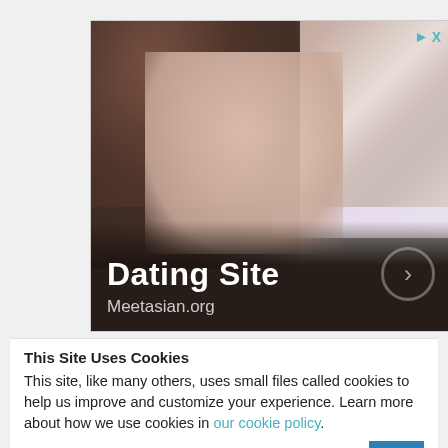[Figure (photo): Advertisement banner for Meetasian.org dating site showing a young woman lying down. Text overlay reads 'Dating Site' in bold white and 'Meetasian.org' below. Small teal play/close icons in top-right corner.]
This Site Uses Cookies
This site, like many others, uses small files called cookies to help us improve and customize your experience. Learn more about how we use cookies in our cookie policy.
Learn more about cookies    OK